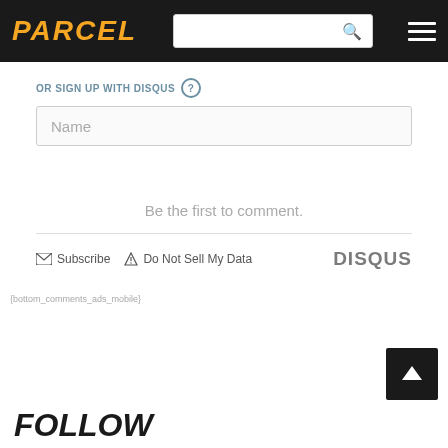PARCEL
OR SIGN UP WITH DISQUS ?
Name
Be the first to comment.
Subscribe   Do Not Sell My Data   DISQUS
{bottom_comments_ads_mobile}
FOLLOW